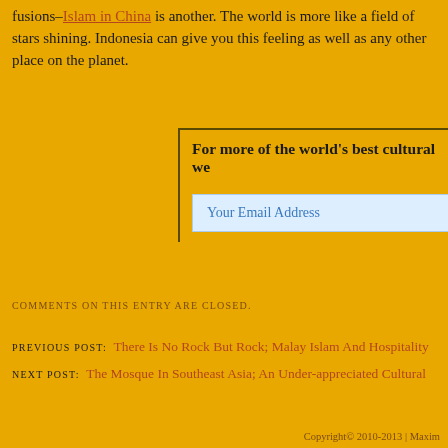fusions–Islam in China is another. The world is more like a field of stars shining. Indonesia can give you this feeling as well as any other place on the planet.
For more of the world's best cultural we [Your Email Address]
COMMENTS ON THIS ENTRY ARE CLOSED.
PREVIOUS POST: There Is No Rock But Rock; Malay Islam And Hospitality
NEXT POST: The Mosque In Southeast Asia; An Under-appreciated Cultural
Copyright© 2010-2013 | Maxim